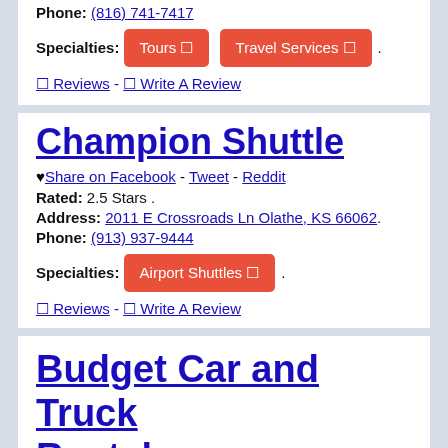Phone: (816) 741-7417
Specialties: Tours  Travel Services .
0 Reviews - 0 Write A Review
Champion Shuttle
♥ Share on Facebook - Tweet - Reddit
Rated: 2.5 Stars .
Address: 2011 E Crossroads Ln Olathe, KS 66062.
Phone: (913) 937-9444
Specialties: Airport Shuttles .
0 Reviews - 0 Write A Review
Budget Car and Truck Rental